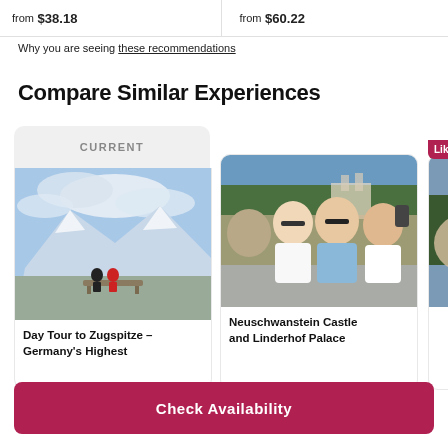from $38.18   from $60.22
Why you are seeing these recommendations
Compare Similar Experiences
[Figure (photo): Card labeled CURRENT showing two people sitting on a bench overlooking snowy mountain peaks (Zugspitze)]
Day Tour to Zugspitze – Germany's Highest
[Figure (photo): Card showing three young people taking a selfie with a castle in the background, Neuschwanstein Castle and Linderhof Palace tour]
Neuschwanstein Castle and Linderhof Palace
[Figure (photo): Partially visible third card with 'Like' badge, Neuschwanstein/Linderhof related tour]
Neus Linde
Check Availability